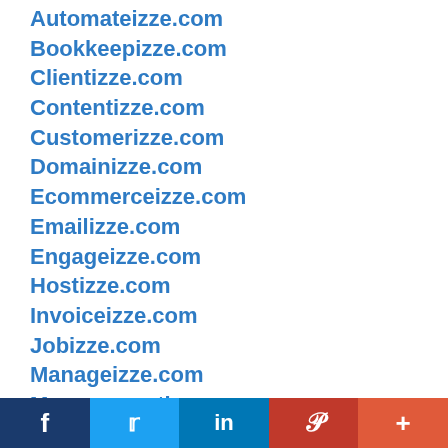Automateizze.com
Bookkeepizze.com
Clientizze.com
Contentizze.com
Customerizze.com
Domainizze.com
Ecommerceizze.com
Emailizze.com
Engageizze.com
Hostizze.com
Invoiceizze.com
Jobizze.com
Manageizze.com
Managementizze.com
Onlineizze.com
Paymentizze.com
Reputationizze.com
Scheduleizze.com
[Figure (infographic): Social media share bar with Facebook, Twitter, LinkedIn, Pinterest, and More buttons]